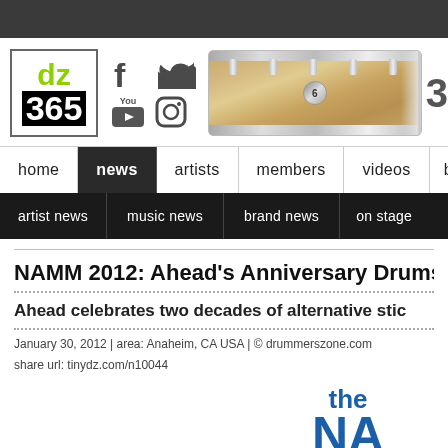[Figure (logo): DZ 365 logo with green 'dz' on black '365' in a bordered box, with Facebook, Twitter, YouTube, and Instagram social icons]
[Figure (photo): A wooden snare drum with chrome hardware, partially visible on the right side of the header]
home | news | artists | members | videos | bra...
artist news | music news | brand news | on stage...
NAMM 2012: Ahead's Anniversary Drumsti...
Ahead celebrates two decades of alternative stic...
January 30, 2012 | area: Anaheim, CA USA | © drummerszone.com
share url: tinydz.com/n10044
[Figure (logo): Partial 'the NAMM' logo in blue at the bottom right]